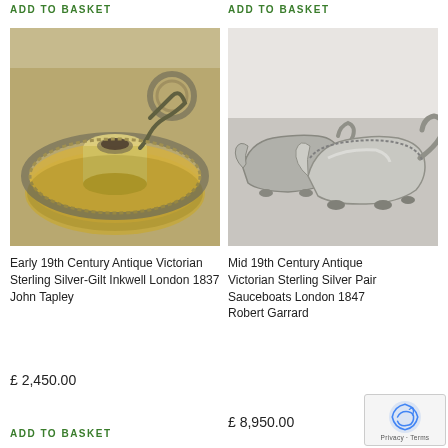ADD TO BASKET
ADD TO BASKET
[Figure (photo): Early 19th Century Antique Victorian Sterling Silver-Gilt Inkwell, circular dish with central inkwell holder, London 1837 by John Tapley]
[Figure (photo): Mid 19th Century Antique Victorian Sterling Silver Pair Sauceboats, London 1841 by Robert Garrard, two ornate silver sauceboats on decorative feet]
Early 19th Century Antique Victorian Sterling Silver-Gilt Inkwell London 1837 John Tapley
Mid 19th Century Antique Victorian Sterling Silver Pair Sauceboats London 1841 Robert Garrard
£ 2,450.00
£ 8,950.00
ADD TO BASKET